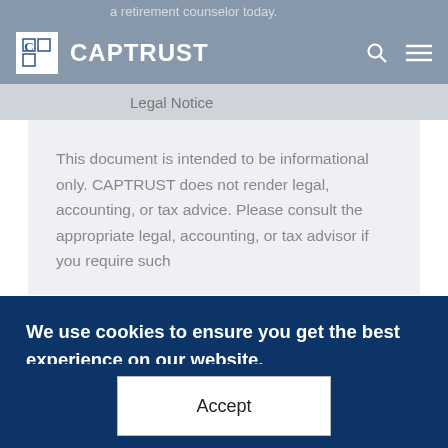a retirement counselor today.
[Figure (logo): CAPTRUST logo with stylized C in white box and CAPTRUST text, with search and menu icons]
Legal Notice
This document is intended to be informational only. CAPTRUST does not render legal, accounting, or tax advice. Please consult the appropriate legal, accounting, or tax advisor if you require such
We use cookies to ensure you get the best experience on our website. If you accept, you agree with our cookie policy. Read More
Accept